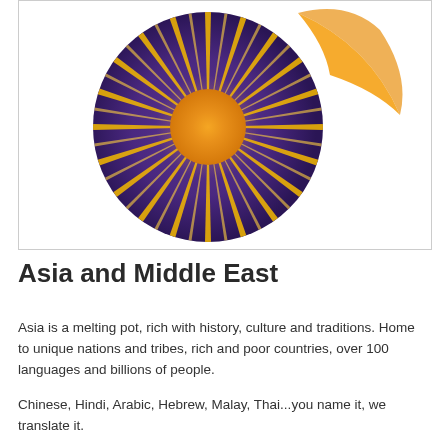[Figure (logo): Circular logo with deep purple/blue background featuring a golden sunburst with many rays emanating from a central orange-gold orb, and a golden crescent moon arc appearing at the upper right outside/overlapping the circle.]
Asia and Middle East
Asia is a melting pot, rich with history, culture and traditions. Home to unique nations and tribes, rich and poor countries, over 100 languages and billions of people.
Chinese, Hindi, Arabic, Hebrew, Malay, Thai...you name it, we translate it.